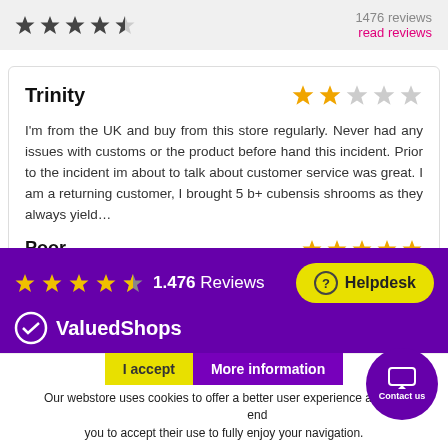[Figure (other): Star rating bar showing 4 filled stars and 1 half star (dark), with '1476 reviews' and 'read reviews' link in pink]
Trinity
[Figure (other): 2-star rating (2 filled orange, 3 gray)]
I'm from the UK and buy from this store regularly. Never had any issues with customs or the product before hand this incident. Prior to the incident im about to talk about customer service was great. I am a returning customer, I brought 5 b+ cubensis shrooms as they always yield…
Poor
[Figure (other): 5-star rating (all orange, partially visible)]
[Figure (other): ValuedShops purple bar showing 4.5 stars, 1.476 Reviews, Helpdesk button]
ValuedShops
I accept  More information
Our webstore uses cookies to offer a better user experience and we recommend you to accept their use to fully enjoy your navigation.